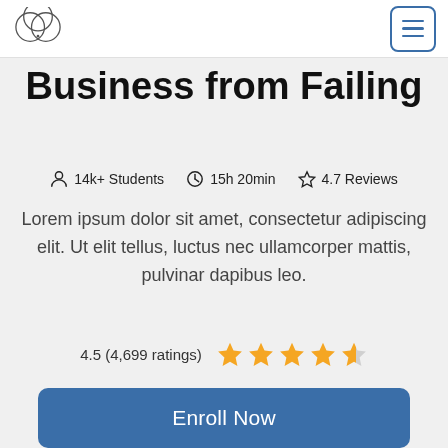logo and menu button
Business from Failing
14k+ Students   15h 20min   4.7 Reviews
Lorem ipsum dolor sit amet, consectetur adipiscing elit. Ut elit tellus, luctus nec ullamcorper mattis, pulvinar dapibus leo.
4.5 (4,699 ratings)
Enroll Now